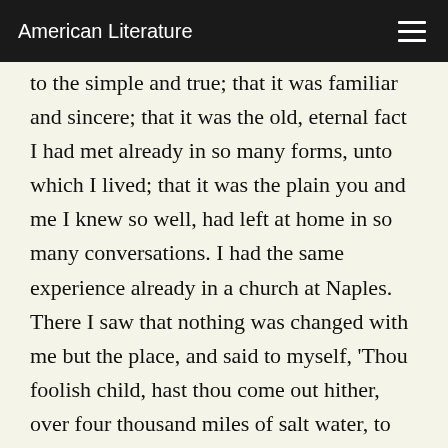American Literature
to the simple and true; that it was familiar and sincere; that it was the old, eternal fact I had met already in so many forms, unto which I lived; that it was the plain you and me I knew so well, had left at home in so many conversations. I had the same experience already in a church at Naples. There I saw that nothing was changed with me but the place, and said to myself, 'Thou foolish child, hast thou come out hither, over four thousand miles of salt water, to find that which was perfect to thee there at home?' that fact I saw again in the Academmia at Naples, in the chambers of sculpture, and yet again when I came to Rome, and to the paintings of Raphael, Angelo, Sacchi, Titian, and